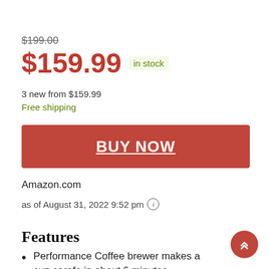$199.00 (strikethrough original price)
$159.99 in stock
3 new from $159.99
Free shipping
BUY NOW
Amazon.com
as of August 31, 2022 9:52 pm
Features
Performance Coffee brewer makes a cup carafe in about 6 minutes